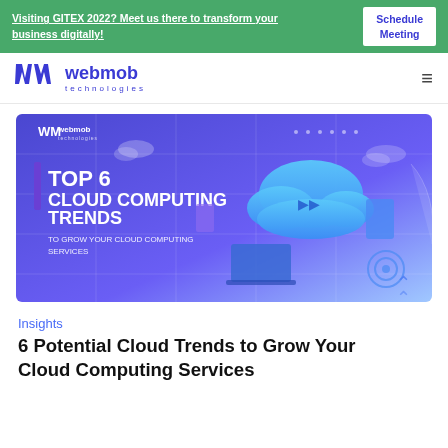Visiting GITEX 2022? Meet us there to transform your business digitally! | Schedule Meeting
[Figure (logo): WebMob Technologies logo with WM icon and wordmark]
[Figure (illustration): Hero banner: TOP 6 CLOUD COMPUTING TRENDS TO GROW YOUR CLOUD COMPUTING SERVICES with isometric cloud computing illustration]
Insights
6 Potential Cloud Trends to Grow Your Cloud Computing Services